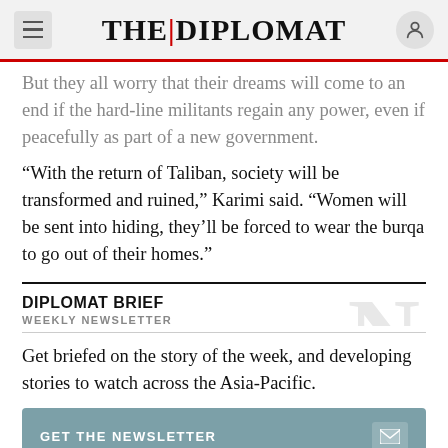THE DIPLOMAT
But they all worry that their dreams will come to an end if the hard-line militants regain any power, even if peacefully as part of a new government.
“With the return of Taliban, society will be transformed and ruined,” Karimi said. “Women will be sent into hiding, they’ll be forced to wear the burqa to go out of their homes.”
DIPLOMAT BRIEF
WEEKLY NEWSLETTER
Get briefed on the story of the week, and developing stories to watch across the Asia-Pacific.
GET THE NEWSLETTER